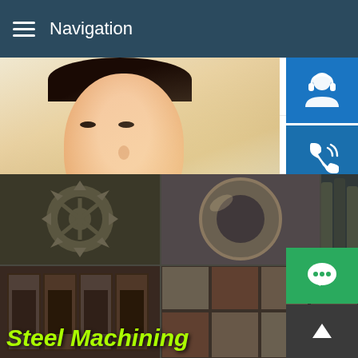Navigation
SUS316LN price stainless ste
BV FH32 tensile stre
hotsell carbon steel pipe wit
[Figure (photo): Customer service representative woman with headset, with contact icons (headset, phone, Skype) on right sidebar, and text 'MANUAL SE... QUOTING O... Email: bsteel1@163.com']
[Figure (photo): Grid of steel machining product photos showing gears, rings/flanges, pipes, and paved steel tiles, with 'Steel Machining' text overlay in yellow-green italic bold font]